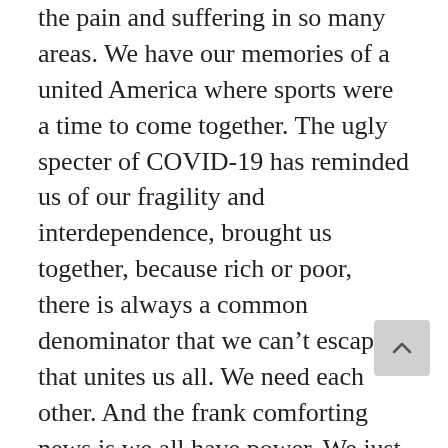the pain and suffering in so many areas. We have our memories of a united America where sports were a time to come together. The ugly specter of COVID-19 has reminded us of our fragility and interdependence, brought us together, because rich or poor, there is always a common denominator that we can't escape, that unites us all. We need each other. And the frank comforting news is we all have power. We just need to recognize that strength in ourselves and remember who we are. What we do matters. We matter. What we do has consequence. What we don't do has consequence. Who we are is special and unique. We are lovable and have value! And united in that bond, b we as if the st t d